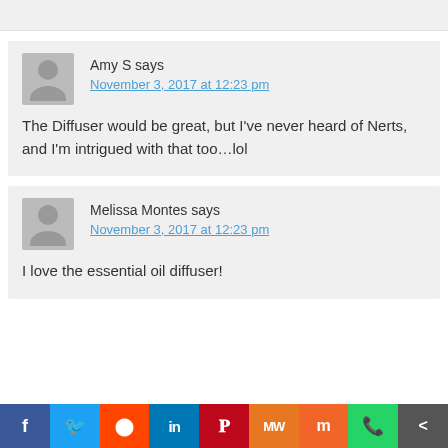Amy S says
November 3, 2017 at 12:23 pm
The Diffuser would be great, but I've never heard of Nerts, and I'm intrigued with that too…lol
Melissa Montes says
November 3, 2017 at 12:23 pm
I love the essential oil diffuser!
f  Twitter  Reddit  in  Pinterest  MW  Mix  WhatsApp  Share